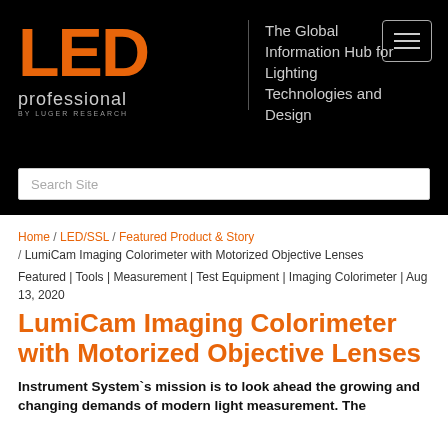[Figure (logo): LED professional by Luger Research logo on black background with tagline 'The Global Information Hub for Lighting Technologies and Design' and hamburger menu icon]
Search Site
Home / LED/SSL / Featured Product & Story / LumiCam Imaging Colorimeter with Motorized Objective Lenses
Featured | Tools | Measurement | Test Equipment | Imaging Colorimeter | Aug 13, 2020
LumiCam Imaging Colorimeter with Motorized Objective Lenses
Instrument System`s mission is to look ahead the growing and changing demands of modern light measurement. The